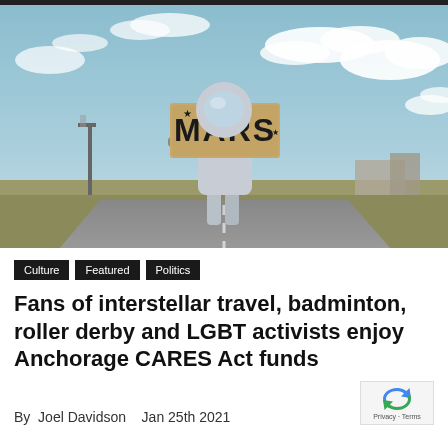[Figure (photo): Person in a white astronaut suit standing on a roadside holding a cardboard sign that reads 'MARS', with a cloudy sky and highway in the background]
Culture
Featured
Politics
Fans of interstellar travel, badminton, roller derby and LGBT activists enjoy Anchorage CARES Act funds
By Joel Davidson   Jan 25th 2021